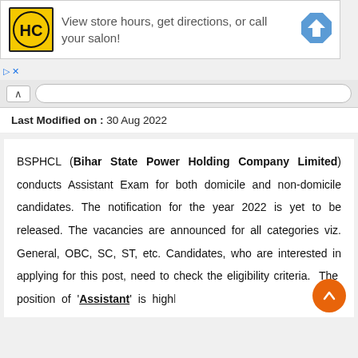[Figure (screenshot): Advertisement banner for HC (hair salon) with logo and navigation icon, text: View store hours, get directions, or call your salon!]
Last Modified on : 30 Aug 2022
BSPHCL (Bihar State Power Holding Company Limited) conducts Assistant Exam for both domicile and non-domicile candidates. The notification for the year 2022 is yet to be released. The vacancies are announced for all categories viz. General, OBC, SC, ST, etc. Candidates, who are interested in applying for this post, need to check the eligibility criteria. The position of 'Assistant' is high...